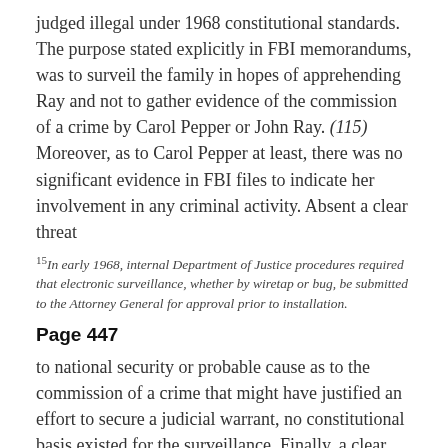judged illegal under 1968 constitutional standards. The purpose stated explicitly in FBI memorandums, was to surveil the family in hopes of apprehending Ray and not to gather evidence of the commission of a crime by Carol Pepper or John Ray. (115) Moreover, as to Carol Pepper at least, there was no significant evidence in FBI files to indicate her involvement in any criminal activity. Absent a clear threat
15In early 1968, internal Department of Justice procedures required that electronic surveillance, whether by wiretap or bug, be submitted to the Attorney General for approval prior to installation.
Page 447
to national security or probable cause as to the commission of a crime that might have justified an effort to secure a judicial warrant, no constitutional basis existed for the surveillance. Finally, a clear statutory basis for such surveillance did not become law until June 19, 1968.